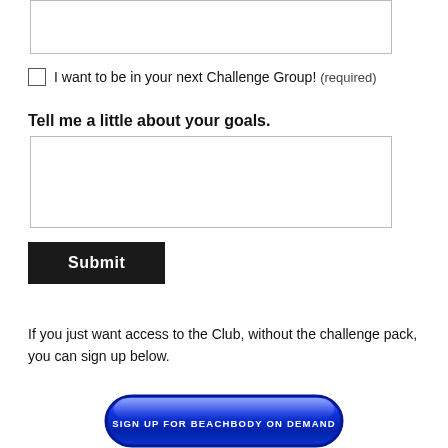[Figure (other): Empty textarea input box at the top of the page]
I want to be in your next Challenge Group! (required)
Tell me a little about your goals.
[Figure (other): Empty textarea input box for goals]
Submit
If you just want access to the Club, without the challenge pack, you can sign up below.
[Figure (other): Blue rounded button at bottom with text SIGN UP FOR BEACHBODY ON DEMAND]